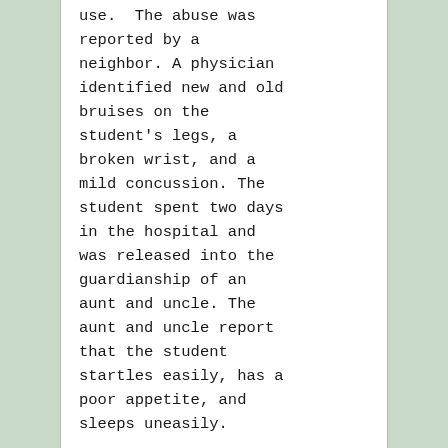use.  The abuse was reported by a neighbor. A physician identified new and old bruises on the student's legs, a broken wrist, and a mild concussion. The student spent two days in the hospital and was released into the guardianship of an aunt and uncle. The aunt and uncle report that the student startles easily, has a poor appetite, and sleeps uneasily.
In the six weeks prior